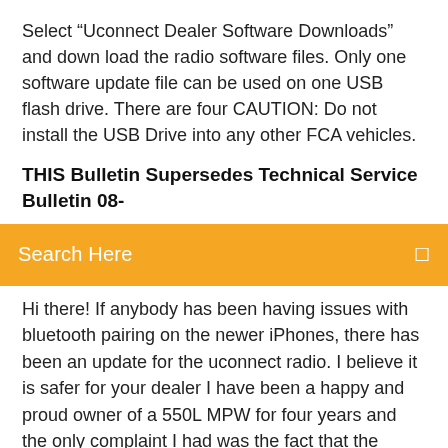Select “Uconnect Dealer Software Downloads” and down load the radio software files. Only one software update file can be used on one USB flash drive. There are four CAUTION: Do not install the USB Drive into any other FCA vehicles.
THIS Bulletin Supersedes Technical Service Bulletin 08-
[Figure (other): Orange search bar UI element with text 'Search Here' and a small icon on the right]
Hi there! If anybody has been having issues with bluetooth pairing on the newer iPhones, there has been an update for the uconnect radio. I believe it is safer for your dealer I have been a happy and proud owner of a 550L MPW for four years and the only complaint I had was the fact that the eco:drive application never worked (I could not manage to CHRY NAVI INTL (Cont | manualzz.com Uconnect 3 WITH 5 INCH Display Section Table OF Contents PAGE 1 Safety AND General Information Introduction Radio MODE Media MODE Phone MODE Voice Recognition Quick TIPS35 2013-2017 UConnect: the next